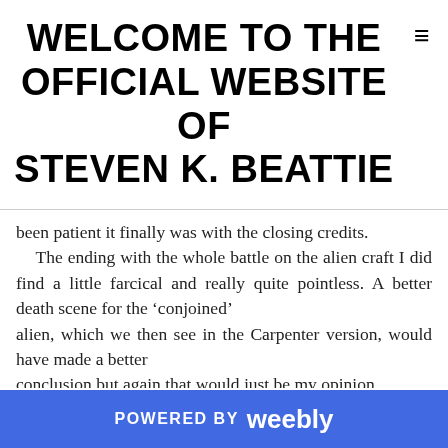WELCOME TO THE OFFICIAL WEBSITE OF STEVEN K. BEATTIE
been patient it finally was with the closing credits.

   The ending with the whole battle on the alien craft I did find a little farcical and really quite pointless. A better death scene for the ‘conjoined’ alien, which we then see in the Carpenter version, would have made a better conclusion but again that would just be my opinion.

   The special effects of the Alien appeared mediocre and the Alien itself rather lame and at times modelled on a rather large crab.

   All this into account the film was ok. I cannot say
POWERED BY weebly